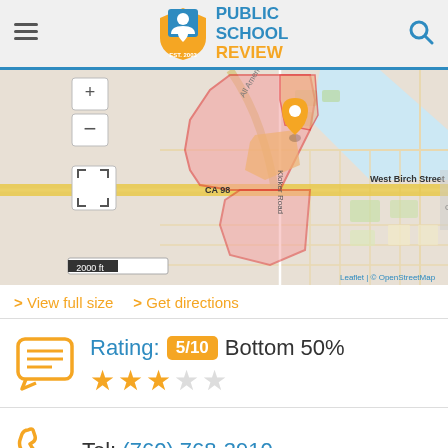Public School Review — EST. 2003
[Figure (map): Street map showing school district boundary outlined in red/pink shading. Map shows CA 98, West Birch Street, Kloker Road, All American Canal area. Orange location pin shown. Scale: 2000 ft. Map credit: Leaflet | © OpenStreetMap]
> View full size   > Get directions
Rating: 5/10  Bottom 50%  ★★★☆☆
Tel: (760) 768-3910